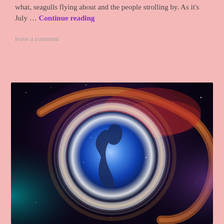what, seagulls flying about and the people strolling by. As it's July … Continue reading
leave a comment
[Figure (illustration): A cosmic/spiritual illustration showing a human profile silhouette inside a glowing blue circle or orb, surrounded by colorful nebula-like energy swirls in purple, orange, red, and teal against a dark starry background. The image has a mystical, metaphysical aesthetic.]